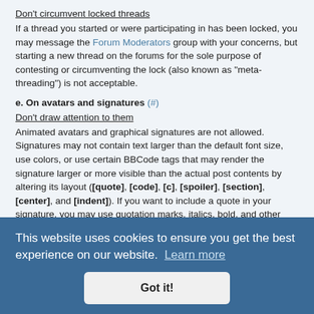Don't circumvent locked threads
If a thread you started or were participating in has been locked, you may message the Forum Moderators group with your concerns, but starting a new thread on the forums for the sole purpose of contesting or circumventing the lock (also known as "meta-threading") is not acceptable.
e. On avatars and signatures (#)
Don't draw attention to them
Animated avatars and graphical signatures are not allowed. Signatures may not contain text larger than the default font size, use colors, or use certain BBCode tags that may render the signature larger or more visible than the actual post contents by altering its layout ([quote], [code], [c], [spoiler], [section], [center], and [indent]). If you want to include a quote in your signature, you may use quotation marks, italics, bold, and other formatting, or a combination thereof.
2. Art and other creative content
a. On plagiarism (#)
Don't do it
This website uses cookies to ensure you get the best experience on our website.  Learn more
Got it!